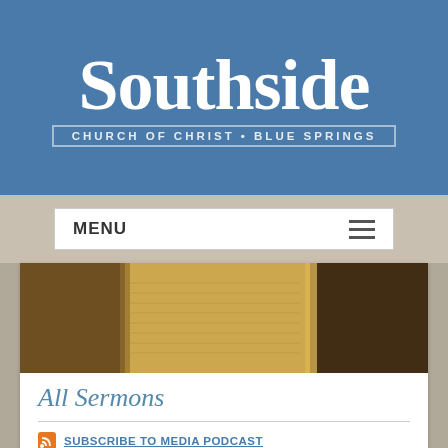[Figure (logo): Southside Church of Christ Blue Springs logo on blue banner background]
MENU
[Figure (photo): Close-up photo of an open Bible with golden/warm toned lighting]
All Sermons
SUBSCRIBE TO MEDIA PODCAST
Sermons